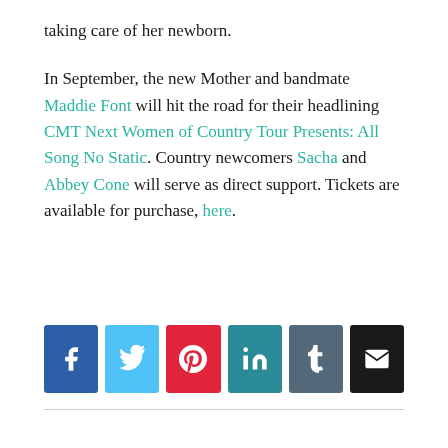taking care of her newborn.
In September, the new Mother and bandmate Maddie Font will hit the road for their headlining CMT Next Women of Country Tour Presents: All Song No Static. Country newcomers Sacha and Abbey Cone will serve as direct support. Tickets are available for purchase, here.
[Figure (infographic): Social share buttons: Facebook (blue), Twitter (light blue), Pinterest (red), LinkedIn (teal), Tumblr (gray), Email (black)]